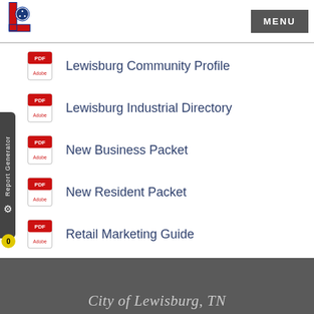[Figure (logo): City of Lewisburg TN logo: red letter L with circular seal]
MENU
Lewisburg Community Profile
Lewisburg Industrial Directory
New Business Packet
New Resident Packet
Retail Marketing Guide
Lewisburg Demographics
Marshall Co. Demographics
City of Lewisburg, TN